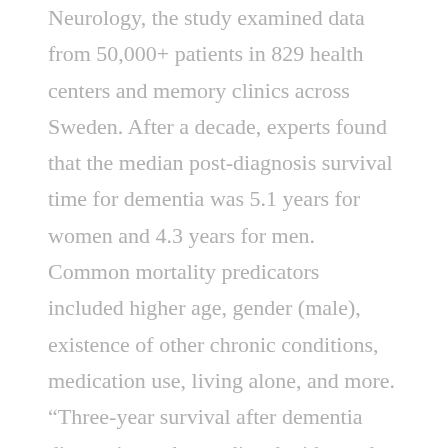Neurology, the study examined data from 50,000+ patients in 829 health centers and memory clinics across Sweden. After a decade, experts found that the median post-diagnosis survival time for dementia was 5.1 years for women and 4.3 years for men. Common mortality predicators included higher age, gender (male), existence of other chronic conditions, medication use, living alone, and more. “Three-year survival after dementia diagnosis can be predicted with good accuracy,” the study concludes. “The survival prediction tables developed in this study may aid clinicians and patients in shared decision-making.”